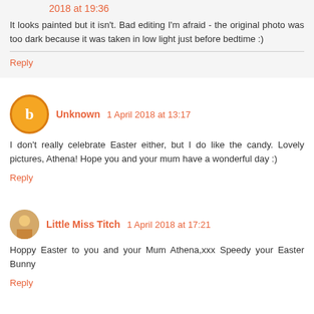2018 at 19:36
It looks painted but it isn't. Bad editing I'm afraid - the original photo was too dark because it was taken in low light just before bedtime :)
Reply
Unknown 1 April 2018 at 13:17
I don't really celebrate Easter either, but I do like the candy. Lovely pictures, Athena! Hope you and your mum have a wonderful day :)
Reply
Little Miss Titch 1 April 2018 at 17:21
Hoppy Easter to you and your Mum Athena,xxx Speedy your Easter Bunny
Reply